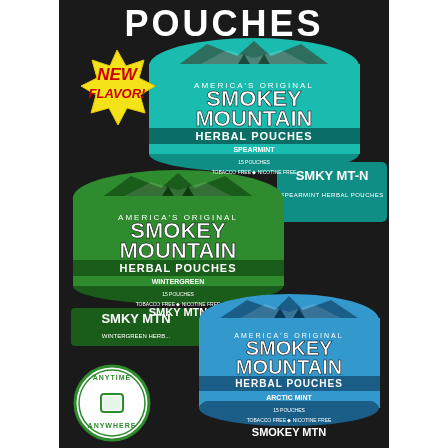POUCHES
[Figure (photo): Advertisement for Smokey Mountain Herbal Pouches showing three tin cans: Spearmint (new flavor), Wintergreen, and Arctic Mint. Each tin is labeled 'America's Original Smokey Mountain Herbal Pouches', '15 Pouches', 'Tobacco Free • Nicotine Free'. A yellow starburst badge reads 'NEW FLAVOR!' next to the Spearmint can. A green circular badge reads 'Anytime Anywhere' at the bottom left. Background is dark/chalkboard style.]